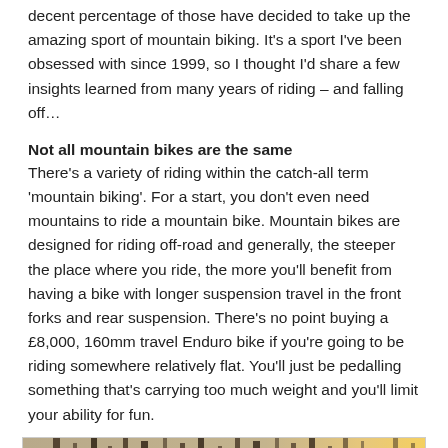decent percentage of those have decided to take up the amazing sport of mountain biking. It's a sport I've been obsessed with since 1999, so I thought I'd share a few insights learned from many years of riding – and falling off…
Not all mountain bikes are the same
There's a variety of riding within the catch-all term 'mountain biking'. For a start, you don't even need mountains to ride a mountain bike. Mountain bikes are designed for riding off-road and generally, the steeper the place where you ride, the more you'll benefit from having a bike with longer suspension travel in the front forks and rear suspension. There's no point buying a £8,000, 160mm travel Enduro bike if you're going to be riding somewhere relatively flat. You'll just be pedalling something that's carrying too much weight and you'll limit your ability for fun.
[Figure (photo): A mountain biker riding through a winter forest with bare trees and sunlight visible in the background]